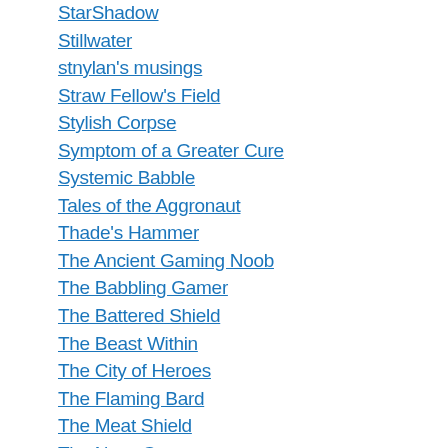StarShadow
Stillwater
stnylan's musings
Straw Fellow's Field
Stylish Corpse
Symptom of a Greater Cure
Systemic Babble
Tales of the Aggronaut
Thade's Hammer
The Ancient Gaming Noob
The Babbling Gamer
The Battered Shield
The Beast Within
The City of Heroes
The Flaming Bard
The Meat Shield
The Nosy Gamer
The stuffed Yammob
The Wizard of Duke Street